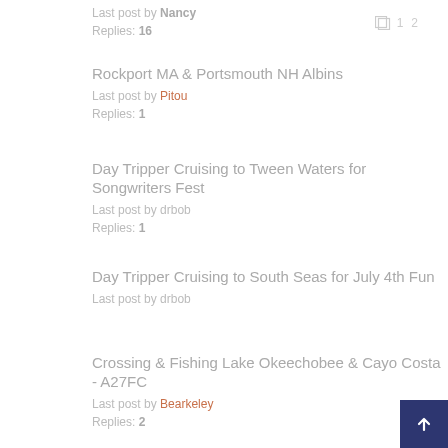Last post by Nancy
Replies: 16
Rockport MA & Portsmouth NH Albins
Last post by Pitou
Replies: 1
Day Tripper Cruising to Tween Waters for Songwriters Fest
Last post by drbob
Replies: 1
Day Tripper Cruising to South Seas for July 4th Fun
Last post by drbob
Crossing & Fishing Lake Okeechobee & Cayo Costa - A27FC
Last post by Bearkeley
Replies: 2